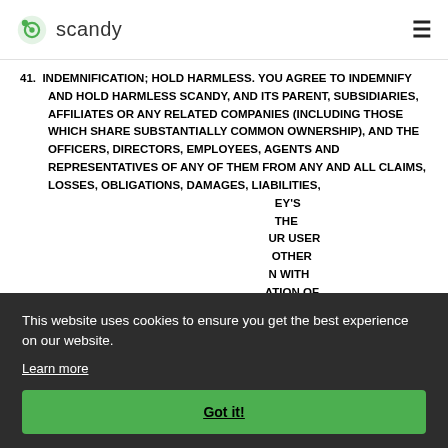scandy
41. INDEMNIFICATION; HOLD HARMLESS. YOU AGREE TO INDEMNIFY AND HOLD HARMLESS SCANDY, AND ITS PARENT, SUBSIDIARIES, AFFILIATES OR ANY RELATED COMPANIES (INCLUDING THOSE WHICH SHARE SUBSTANTIALLY COMMON OWNERSHIP), AND THE OFFICERS, DIRECTORS, EMPLOYEES, AGENTS AND REPRESENTATIVES OF ANY OF THEM FROM ANY AND ALL CLAIMS, LOSSES, OBLIGATIONS, DAMAGES, LIABILITIES, ...EY'S ...THE ...UR USER ...OTHER ...N WITH ...ATION OF ...S OF ANY ...AT ANY ...OTHER PERSON OR ENTITY, INCLUDING CLAIMS THAT ANY
This website uses cookies to ensure you get the best experience on our website.
Learn more
Got it!